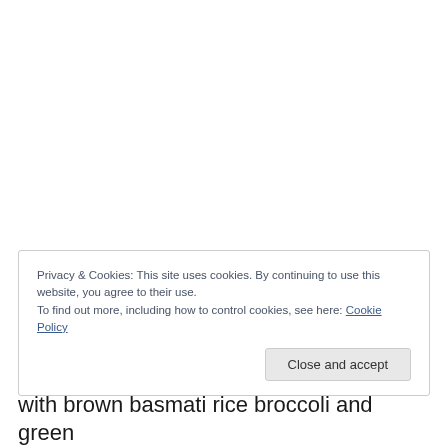Privacy & Cookies: This site uses cookies. By continuing to use this website, you agree to their use.
To find out more, including how to control cookies, see here: Cookie Policy
Close and accept
with brown basmati rice broccoli and green